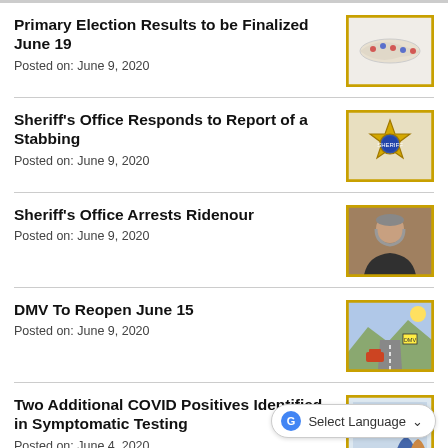Primary Election Results to be Finalized June 19
Posted on: June 9, 2020
[Figure (photo): Roll of red white and blue ballot stickers]
Sheriff's Office Responds to Report of a Stabbing
Posted on: June 9, 2020
[Figure (photo): Sheriff's office gold badge/star logo]
Sheriff's Office Arrests Ridenour
Posted on: June 9, 2020
[Figure (photo): Mugshot of older white male with beard]
DMV To Reopen June 15
Posted on: June 9, 2020
[Figure (photo): Car on desert highway with road sign]
Two Additional COVID Positives Identified in Symptomatic Testing
Posted on: June 4, 2020
[Figure (photo): COVID-related image, partially visible]